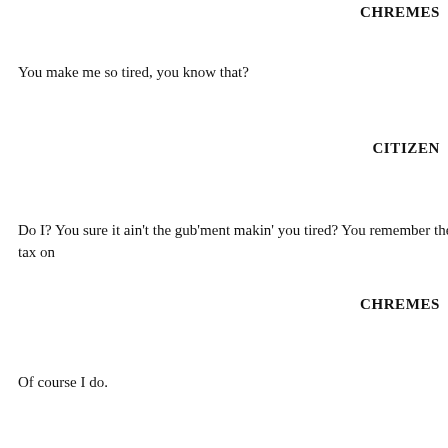CHREMES
You make me so tired, you know that?
CITIZEN
Do I? You sure it ain't the gub'ment makin' you tired? You remember the tax on
CHREMES
Of course I do.
CITIZEN
You remember the old copper coins?
CHREMES
Yes, I lost my shirt on those coins. I sold a whole year's crop of grapevines for c the herald was already yelling, "Copper no longer accepted. Only silver currency
CITIZEN
And just this last week, Warrenbuffetus was sayin' we oughta tax the rich, am I r he's so fuckin' smart, 'cept guess what? Ain't nothin' ever come of it. Motherfu ass'll be the first against the wall.